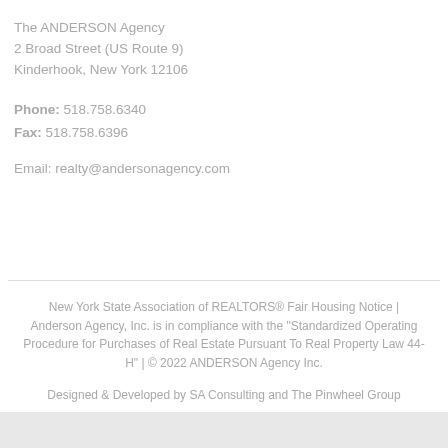The ANDERSON Agency
2 Broad Street (US Route 9)
Kinderhook, New York 12106
Phone: 518.758.6340
Fax: 518.758.6396
Email: realty@andersonagency.com
New York State Association of REALTORS® Fair Housing Notice | Anderson Agency, Inc. is in compliance with the "Standardized Operating Procedure for Purchases of Real Estate Pursuant To Real Property Law 44-H" | © 2022 ANDERSON Agency Inc.

Designed & Developed by SA Consulting and The Pinwheel Group